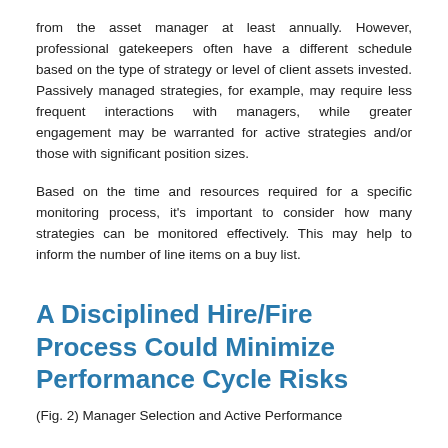from the asset manager at least annually. However, professional gatekeepers often have a different schedule based on the type of strategy or level of client assets invested. Passively managed strategies, for example, may require less frequent interactions with managers, while greater engagement may be warranted for active strategies and/or those with significant position sizes.
Based on the time and resources required for a specific monitoring process, it's important to consider how many strategies can be monitored effectively. This may help to inform the number of line items on a buy list.
A Disciplined Hire/Fire Process Could Minimize Performance Cycle Risks
(Fig. 2) Manager Selection and Active Performance